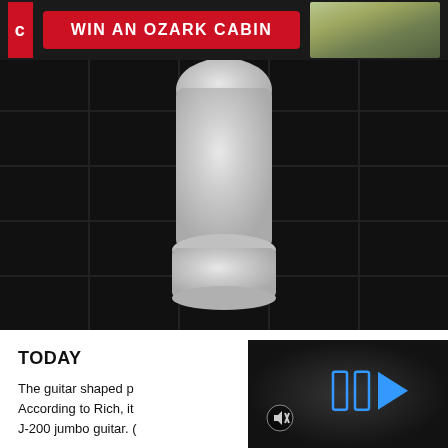[Figure (photo): Advertisement banner with red 'WIN AN OZARK CABIN' button and cabin photo on dark background]
[Figure (photo): Close-up photo of a white toilet base on dark tile floor]
TODAY
The guitar shaped pe According to Rich, it J-200 jumbo guitar. (
[Figure (screenshot): Dark video player panel with blue fast-forward/play icon controls and mute icon]